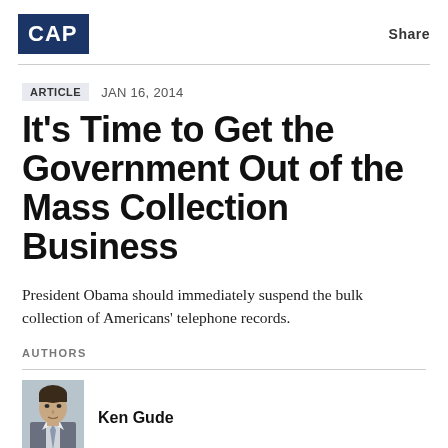[Figure (logo): CAP logo — white text on dark blue background]
Share
ARTICLE   JAN 16, 2014
It's Time to Get the Government Out of the Mass Collection Business
President Obama should immediately suspend the bulk collection of Americans' telephone records.
AUTHORS
Ken Gude